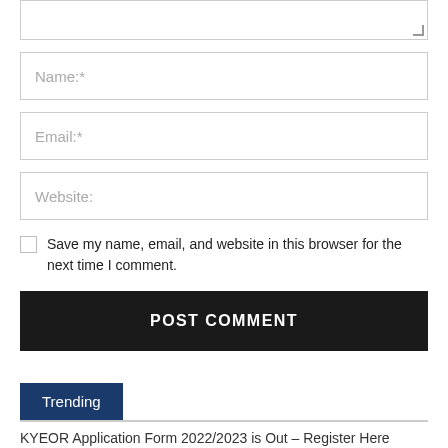[Figure (screenshot): Textarea input stub at top of page with resize handle at bottom-right]
Name:*
Email:*
Website:
Save my name, email, and website in this browser for the next time I comment.
POST COMMENT
Trending
KYEOR Application Form 2022/2023 is Out – Register Here